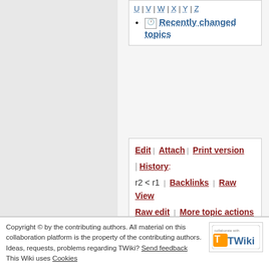U | V | W | X | Y | Z
Recently changed topics
Edit | Attach | Print version | History: r2 < r1 | Backlinks | Raw View | Raw edit | More topic actions
Topic revision: r2 - 07 Feb 2022 - 15:29:37 - ChrisCooke
Copyright © by the contributing authors. All material on this collaboration platform is the property of the contributing authors. Ideas, requests, problems regarding TWiki? Send feedback This Wiki uses Cookies